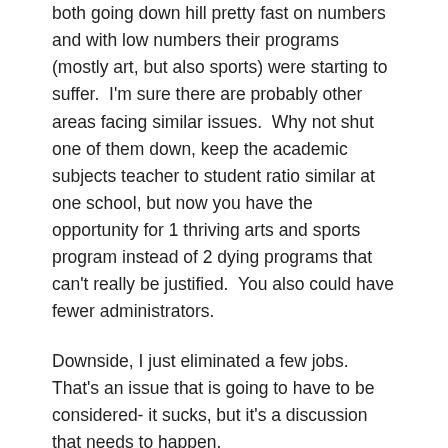both going down hill pretty fast on numbers and with low numbers their programs (mostly art, but also sports) were starting to suffer.  I'm sure there are probably other areas facing similar issues.  Why not shut one of them down, keep the academic subjects teacher to student ratio similar at one school, but now you have the opportunity for 1 thriving arts and sports program instead of 2 dying programs that can't really be justified.  You also could have fewer administrators.
Downside, I just eliminated a few jobs.  That's an issue that is going to have to be considered- it sucks, but it's a discussion that needs to happen.
In conclusion